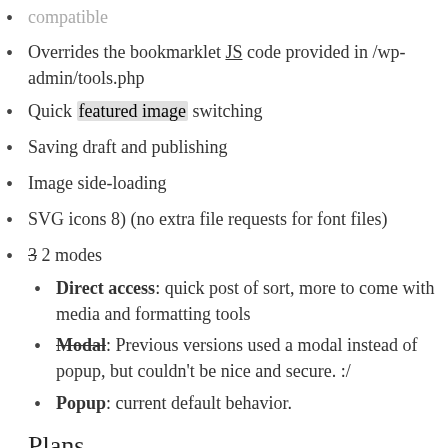compatible
Overrides the bookmarklet JS code provided in /wp-admin/tools.php
Quick featured image switching
Saving draft and publishing
Image side-loading
SVG icons 8) (no extra file requests for font files)
3 2 modes
Direct access: quick post of sort, more to come with media and formatting tools
Modal: Previous versions used a modal instead of popup, but couldn’t be nice and secure. :/
Popup: current default behavior.
Plans